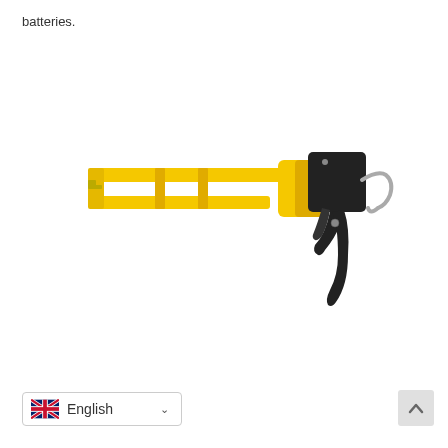batteries.
[Figure (photo): A caulking gun with a yellow plastic frame/barrel and black plastic handle and trigger mechanism, with a metal hook at the rear end.]
English
[Figure (other): Back to top button arrow]